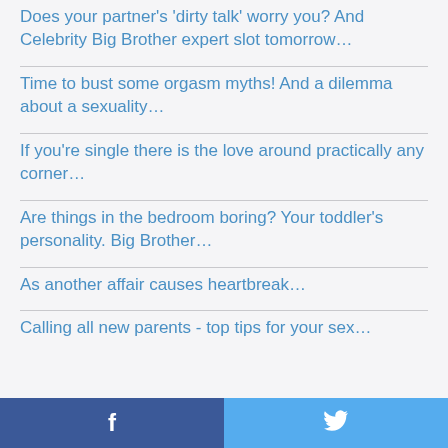Does your partner's 'dirty talk' worry you? And Celebrity Big Brother expert slot tomorrow…
Time to bust some orgasm myths! And a dilemma about a sexuality…
If you're single there is the love around practically any corner…
Are things in the bedroom boring? Your toddler's personality. Big Brother…
As another affair causes heartbreak…
Calling all new parents - top tips for your sex…
f  🐦